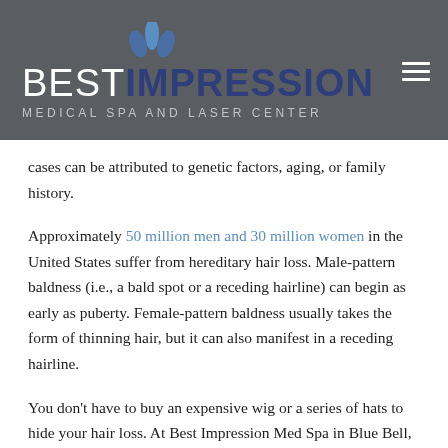BEST IMPRESSION MEDICAL SPA AND LASER CENTER
cases can be attributed to genetic factors, aging, or family history.
Approximately 50 million men and 30 million women in the United States suffer from hereditary hair loss. Male-pattern baldness (i.e., a bald spot or a receding hairline) can begin as early as puberty. Female-pattern baldness usually takes the form of thinning hair, but it can also manifest in a receding hairline.
You don’t have to buy an expensive wig or a series of hats to hide your hair loss. At Best Impression Med Spa in Blue Bell, Pennsylvania, Robert Mirabile, MD, and Vivan Hsu,